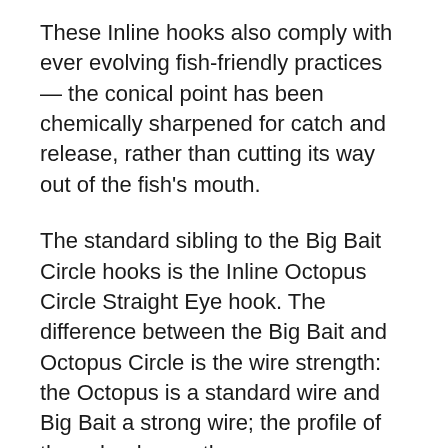These Inline hooks also comply with ever evolving fish-friendly practices — the conical point has been chemically sharpened for catch and release, rather than cutting its way out of the fish's mouth.
The standard sibling to the Big Bait Circle hooks is the Inline Octopus Circle Straight Eye hook. The difference between the Big Bait and Octopus Circle is the wire strength: the Octopus is a standard wire and Big Bait a strong wire; the profile of these hooks are the same.
The Inline Octopus Circle SE is dynamic and versatile: a broad range of hook sizes allows for catching smaller species in the estuaries as well as larger